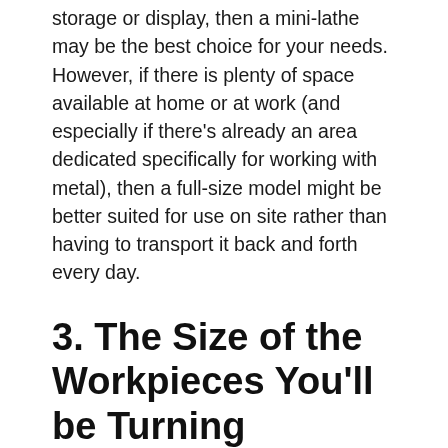storage or display, then a mini-lathe may be the best choice for your needs. However, if there is plenty of space available at home or at work (and especially if there's already an area dedicated specifically for working with metal), then a full-size model might be better suited for use on site rather than having to transport it back and forth every day.
3. The Size of the Workpieces You'll be Turning
When buying a metal lathe under $3,000, you should consider the size of the workpieces you'll be turning. If you're going